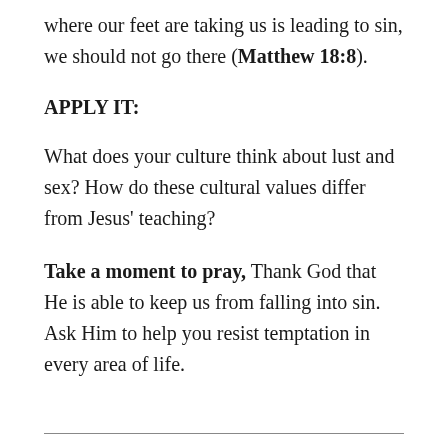where our feet are taking us is leading to sin, we should not go there (Matthew 18:8).
APPLY IT:
What does your culture think about lust and sex? How do these cultural values differ from Jesus' teaching?
Take a moment to pray, Thank God that He is able to keep us from falling into sin. Ask Him to help you resist temptation in every area of life.